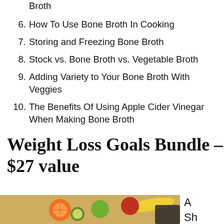Broth
6. How To Use Bone Broth In Cooking
7. Storing and Freezing Bone Broth
8. Stock vs. Bone Broth vs. Vegetable Broth
9. Adding Variety to Your Bone Broth With Veggies
10. The Benefits Of Using Apple Cider Vinegar When Making Bone Broth
Weight Loss Goals Bundle – $27 value
[Figure (photo): Photo of assorted fruits including oranges, apples, kiwi, and bananas on a wooden surface, partially visible at the bottom of the page.]